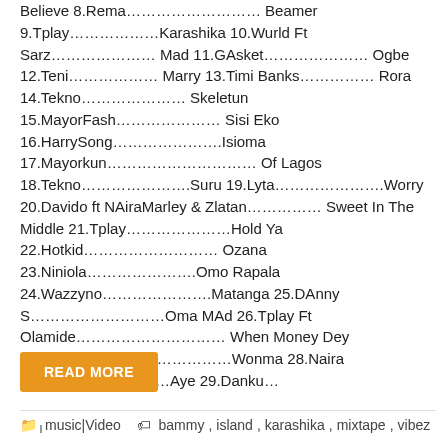Believe 8.Rema……………………… Beamer 9.Tplay………………Karashika 10.Wurld Ft Sarz………………… Mad 11.GAsket………………… Ogbe 12.Teni……………… Marry 13.Timi Banks…………… Rora 14.Tekno………………… Skeletun 15.MayorFash………………… Sisi Eko 16.HarrySong………………….Isioma 17.Mayorkun………………………… Of Lagos 18.Tekno………………….Suru 19.Lyta………………….Worry 20.Davido ft NAiraMarley & Zlatan…………… Sweet In The Middle 21.Tplay…………………Hold Ya 22.Hotkid……………………… Ozana 23.Niniola………………….Omo Rapala 24.Wazzyno………………….Matanga 25.DAnny S………………………Oma MAd 26.Tplay Ft Olamide………………………… When Money Dey 27.Olamide………………………Wonma 28.Naira Marley…………………Aye 29.Danku…
READ MORE
music|Video   bammy, island, karashika, mixtape, vibez